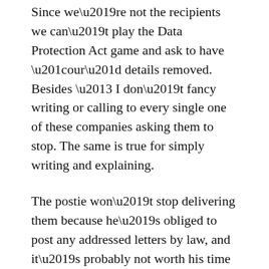Since we’re not the recipients we can’t play the Data Protection Act game and ask to have “our” details removed. Besides – I don’t fancy writing or calling to every single one of these companies asking them to stop. The same is true for simply writing and explaining.
The postie won’t stop delivering them because he’s obliged to post any addressed letters by law, and it’s probably not worth his time filtering them anyway.
So, after a bit of a look-up on the Internet I noticed a few people recommending writing “Return to Sender. Recipient no longer lives here” on the front. Dutifully I ran off a load of labels (cheaper, so we think, than to) and started...